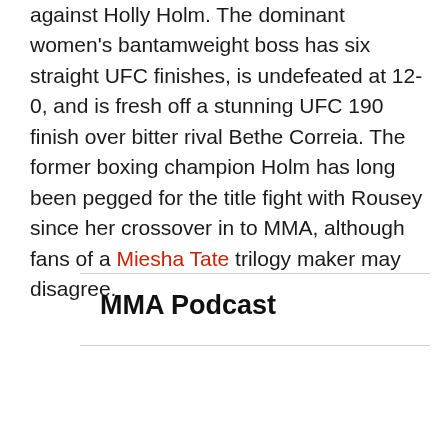against Holly Holm. The dominant women's bantamweight boss has six straight UFC finishes, is undefeated at 12-0, and is fresh off a stunning UFC 190 finish over bitter rival Bethe Correia. The former boxing champion Holm has long been pegged for the title fight with Rousey since her crossover in to MMA, although fans of a Miesha Tate trilogy maker may disagree.
MMA Podcast